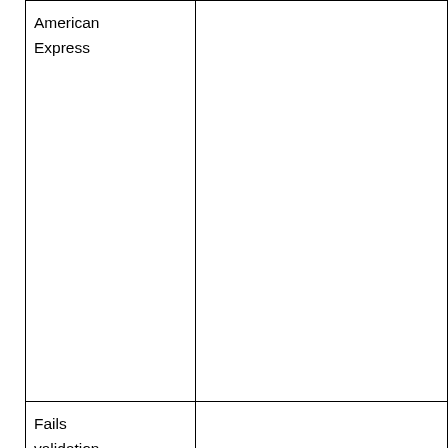| American Express |  |
| Fails validation |  |
| 468 |  |